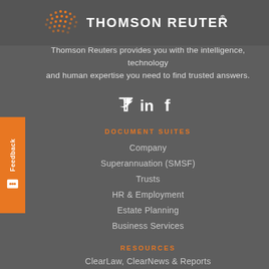[Figure (logo): Thomson Reuters logo with orange dot-pattern globe and white text 'THOMSON REUTERS®']
Thomson Reuters provides you with the intelligence, technology and human expertise you need to find trusted answers.
[Figure (illustration): Social media icons: Twitter bird, LinkedIn 'in', Facebook 'f' in white]
DOCUMENT SUITES
Company
Superannuation (SMSF)
Trusts
HR & Employment
Estate Planning
Business Services
RESOURCES
ClearLaw, ClearNews & Reports
Legal FAQs